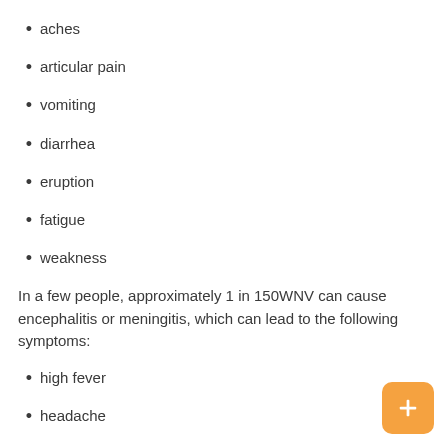aches
articular pain
vomiting
diarrhea
eruption
fatigue
weakness
In a few people, approximately 1 in 150WNV can cause encephalitis or meningitis, which can lead to the following symptoms:
high fever
headache
neck stiffness
stupor, which includes impaired consciousness, extreme lethargy, or decreased response to external stimuli
disorientation
coma